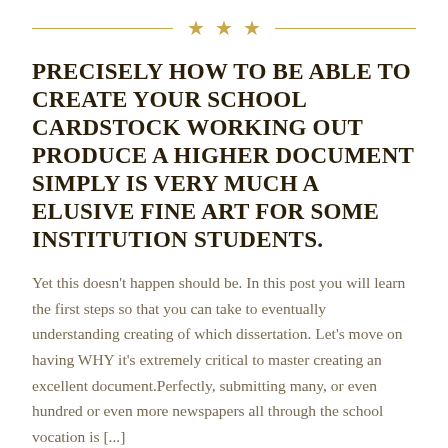[Figure (other): Decorative horizontal rule with three gold stars centered between two lines]
PRECISELY HOW TO BE ABLE TO CREATE YOUR SCHOOL CARDSTOCK WORKING OUT PRODUCE A HIGHER DOCUMENT SIMPLY IS VERY MUCH A ELUSIVE FINE ART FOR SOME INSTITUTION STUDENTS.
Yet this doesn't happen should be. In this post you will learn the first steps so that you can take to eventually understanding creating of which dissertation. Let's move on having WHY it's extremely critical to master creating an excellent document.Perfectly, submitting many, or even hundred or even more newspapers all through the school vocation is [...]